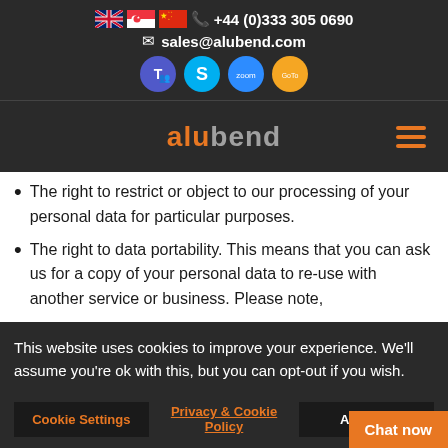UK / Singapore / China flags | +44 (0)333 305 0690 | sales@alubend.com | Teams, Skype, Zoom, GoToMeeting apps
[Figure (logo): alubend logo in orange and grey on dark background, with orange hamburger menu icon on right]
The right to restrict or object to our processing of your personal data for particular purposes.
The right to data portability. This means that you can ask us for a copy of your personal data to re-use with another service or business. Please note,
This website uses cookies to improve your experience. We'll assume you're ok with this, but you can opt-out if you wish.
Cookie Settings | Privacy & Cookie Policy | ACCEPT
Chat now